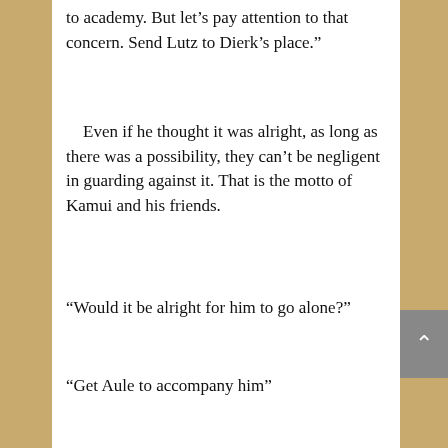to academy. But let’s pay attention to that concern. Send Lutz to Dierk’s place.”
Even if he thought it was alright, as long as there was a possibility, they can’t be negligent in guarding against it. That is the motto of Kamui and his friends.
“Would it be alright for him to go alone?”
“Get Aule to accompany him”